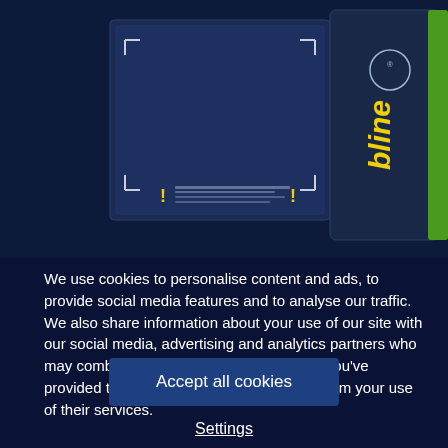[Figure (photo): Product packaging image of motorcycle oil (Bline Motorcycle Oil) shown from two angles - front and back of box/bottle, dark navy blue background, yellow branding text, green accent strip on right side]
We use cookies to personalise content and ads, to provide social media features and to analyse our traffic. We also share information about your use of our site with our social media, advertising and analytics partners who may combine it with other information that you've provided to them or that they've collected from your use of their services.
Accept all cookies
Settings